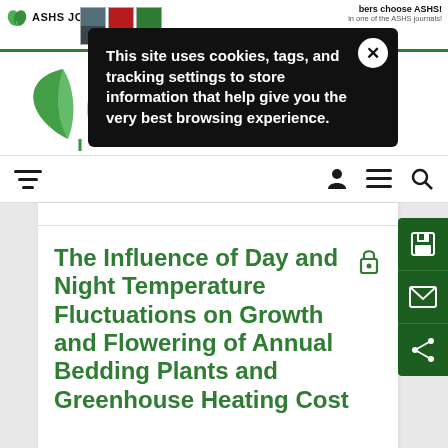ASHS JOU | This site uses cookies, tags, and tracking settings to store information that help give you the very best browsing experience. | bers choose ASHS! | in one of the ASHS journals!
[Figure (logo): Green leaf logo for ASHS journal website]
[Figure (infographic): Navigation bar with hamburger/filter icon on left, and person, menu, search icons on right]
The Influence of Day and Night Temperature Fluctuations on Growth and Flowering of Annual Bedding Plants and Greenhouse Heating Cost
[Figure (infographic): Green side action bar with save, email, and share icons]